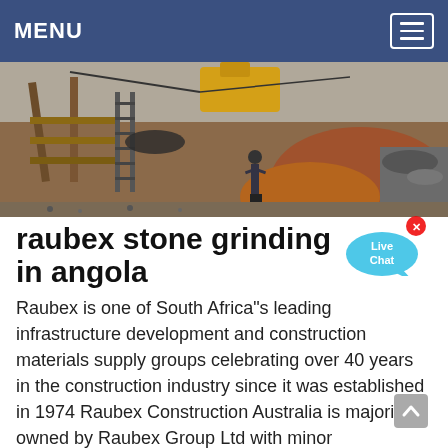MENU
[Figure (photo): Construction/mining site with workers, wooden structures, ladders, and earth mounds in an open-cut excavation area.]
[Figure (other): Live Chat bubble badge in cyan/blue color with 'x' close button in the top right corner.]
raubex stone grinding in angola
Raubex is one of South Africa"s leading infrastructure development and construction materials supply groups celebrating over 40 years in the construction industry since it was established in 1974 Raubex Construction Australia is majority owned by Raubex Group Ltd with minor shareholdings held by local management in Australia...As a leading global manufacturer of crushing equipment, milling ...